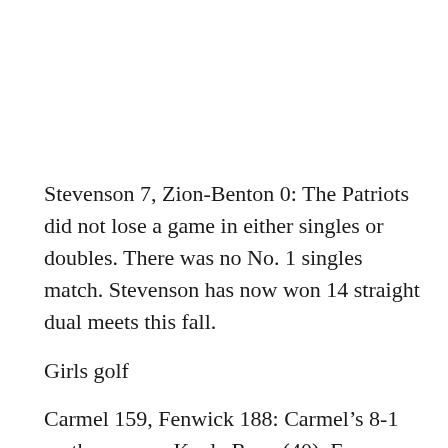Stevenson 7, Zion-Benton 0: The Patriots did not lose a game in either singles or doubles. There was no No. 1 singles match. Stevenson has now won 14 straight dual meets this fall.
Girls golf
Carmel 159, Fenwick 188: Carmel's 8-1 on the season. Kayla Ryan (40), Evan Savocich (41), Natalie Linquist (42) and Erin Kehoe (46) scored for the Corsairs.